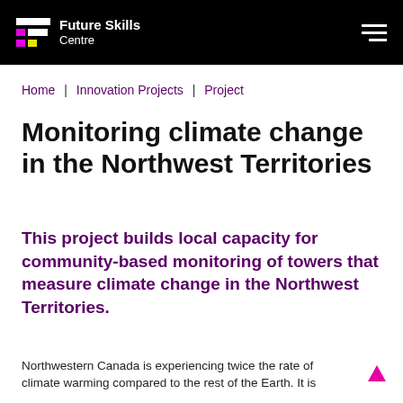Future Skills Centre
Home | Innovation Projects | Project
Monitoring climate change in the Northwest Territories
This project builds local capacity for community-based monitoring of towers that measure climate change in the Northwest Territories.
Northwestern Canada is experiencing twice the rate of climate warming compared to the rest of the Earth. It is